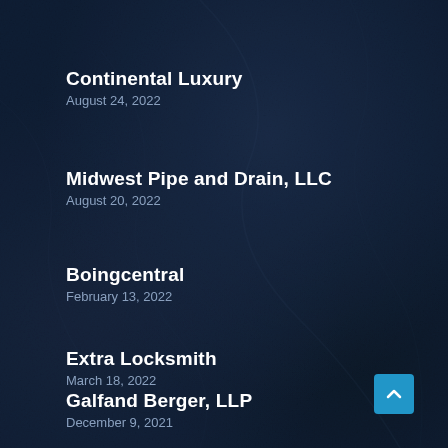Continental Luxury
August 24, 2022
Midwest Pipe and Drain, LLC
August 20, 2022
Boingcentral
February 13, 2022
Extra Locksmith
March 18, 2022
Galfand Berger, LLP
December 9, 2021